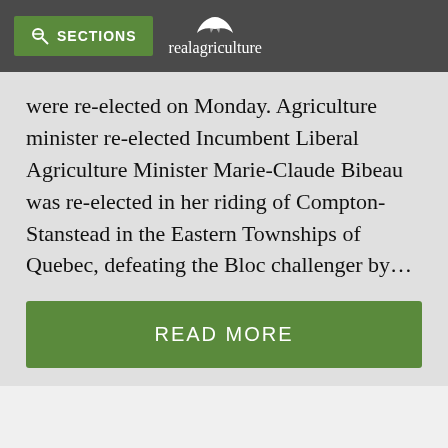SECTIONS realagriculture
were re-elected on Monday. Agriculture minister re-elected Incumbent Liberal Agriculture Minister Marie-Claude Bibeau was re-elected in her riding of Compton-Stanstead in the Eastern Townships of Quebec, defeating the Bloc challenger by…
READ MORE